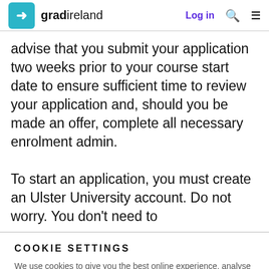gradireland — Log in
advise that you submit your application two weeks prior to your course start date to ensure sufficient time to review your application and, should you be made an offer, complete all necessary enrolment admin.

To start an application, you must create an Ulster University account. Do not worry. You don't need to
COOKIE SETTINGS
We use cookies to give you the best online experience, analyse traffic and improve our services. Please let us know if you agree to all these cookies.
Manage settings | Yes, I agree